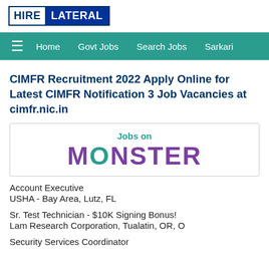HIRE LATERAL
Home  Govt Jobs  Search Jobs  Sarkari
CIMFR Recruitment 2022 Apply Online for Latest CIMFR Notification 3 Job Vacancies at cimfr.nic.in
[Figure (logo): Jobs on MONSTER advertisement widget with Monster logo in purple and teal]
Account Executive
USHA - Bay Area, Lutz, FL
Sr. Test Technician - $10K Signing Bonus!
Lam Research Corporation, Tualatin, OR, O
Security Services Coordinator